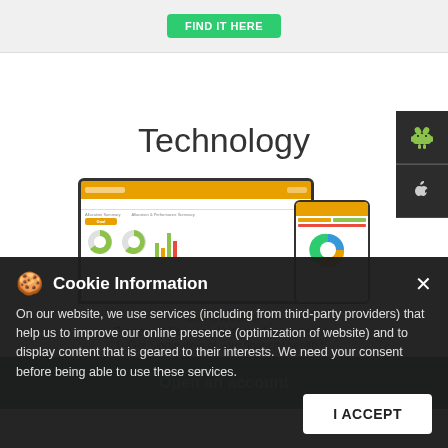[Figure (screenshot): Top bar with a green 'FIND IT HERE' button on a light gray background]
Technology
[Figure (screenshot): Laptop and phone device mockups showing MO Investor financial fitness platform dashboard with pie charts and bar charts]
MO Investor
Financial fitness platform for Investors
1- Get Single view of your financial health f...
Open an account
Cookie Information

On our website, we use services (including from third-party providers) that help us to improve our online presence (optimization of website) and to display content that is geared to their interests. We need your consent before being able to use these services.
I ACCEPT